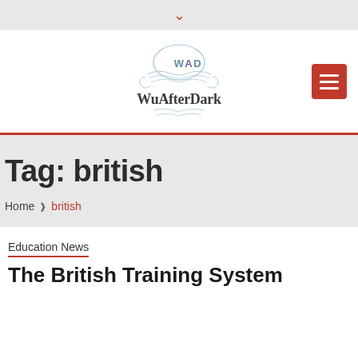▼
[Figure (logo): WuAfterDark website logo with decorative circular ornament and WAD monogram above the text 'WuAfterDark']
Tag: british
Home  ❯  british
Education News
The British Training System